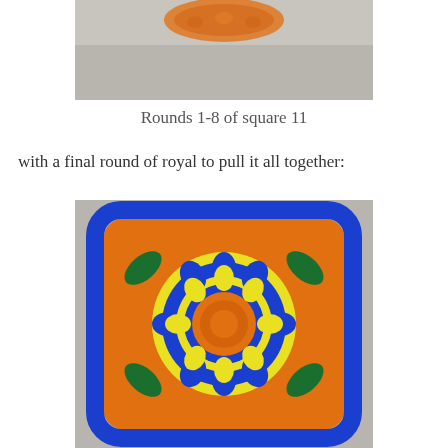[Figure (photo): Top partial photo showing a crocheted orange granny square piece on a gray surface, cropped at top and bottom.]
Rounds 1-8 of square 11
with a final round of royal to pull it all together:
[Figure (photo): A completed crocheted granny square with a large flower design. The flower has an orange center, surrounded by blue petals, yellow layer, green leaves, and an orange background with blue border edging. Photographed on a gray surface.]